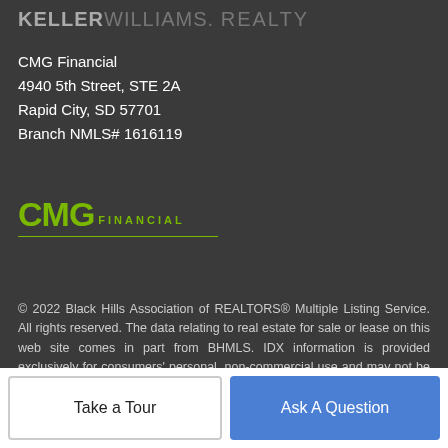KELLERWILLIAMS. REALTY
CMG Financial
4940 5th Street, STE 2A
Rapid City, SD 57701
Branch NMLS# 1616119
[Figure (logo): CMG Financial logo with green letters and underline]
© 2022 Black Hills Association of REALTORS® Multiple Listing Service. All rights reserved. The data relating to real estate for sale or lease on this web site comes in part from BHMLS. IDX information is provided exclusively for consumers' personal, non-commercial use and may not be used for any purpose other than to identify prospective properties consumers may be interested in
Take a Tour
Ask A Question